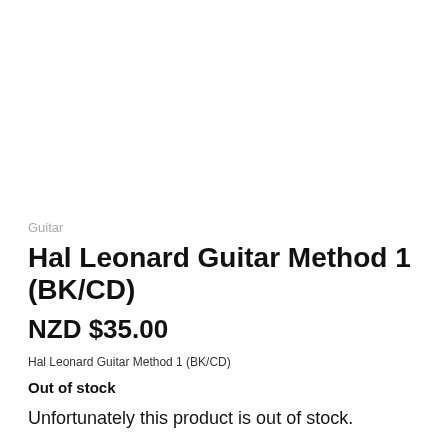Guitar
Hal Leonard Guitar Method 1 (BK/CD)
NZD $35.00
Hal Leonard Guitar Method 1 (BK/CD)
Out of stock
Unfortunately this product is out of stock.